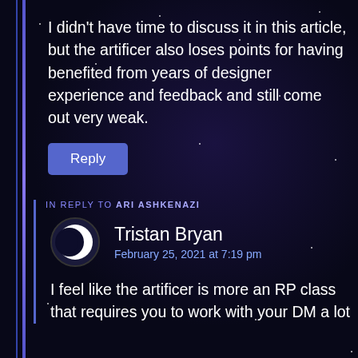I didn't have time to discuss it in this article, but the artificer also loses points for having benefited from years of designer experience and feedback and still come out very weak.
Reply
IN REPLY TO ARI ASHKENAZI
Tristan Bryan
February 25, 2021 at 7:19 pm
I feel like the artificer is more an RP class that requires you to work with your DM a lot